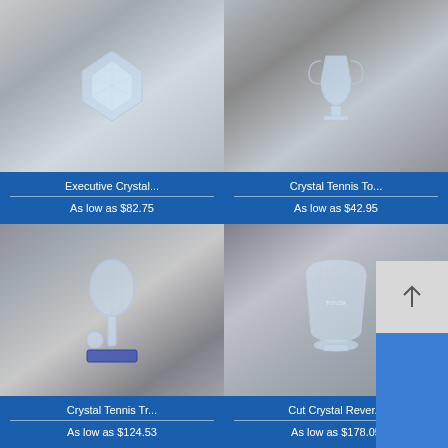[Figure (photo): Crystal award trophy product photo - Executive Crystal]
Executive Crystal...
As low as $82.75
[Figure (photo): Crystal Tennis Trophy product photo]
Crystal Tennis To...
As low as $42.95
[Figure (photo): Crystal Tennis Racket Trophy with blue base]
Crystal Tennis Tr...
As low as $124.53
[Figure (photo): Cut Crystal Reverse engraved bowl with Toyota branding]
Cut Crystal Rever...
As low as $178.05